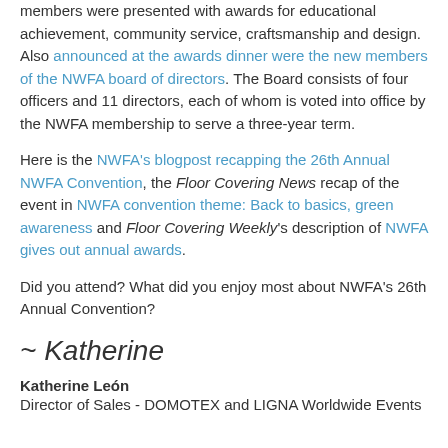members were presented with awards for educational achievement, community service, craftsmanship and design. Also announced at the awards dinner were the new members of the NWFA board of directors. The Board consists of four officers and 11 directors, each of whom is voted into office by the NWFA membership to serve a three-year term.
Here is the NWFA's blogpost recapping the 26th Annual NWFA Convention, the Floor Covering News recap of the event in NWFA convention theme: Back to basics, green awareness and Floor Covering Weekly's description of NWFA gives out annual awards.
Did you attend? What did you enjoy most about NWFA's 26th Annual Convention?
~ Katherine
Katherine León
Director of Sales - DOMOTEX and LIGNA Worldwide Events